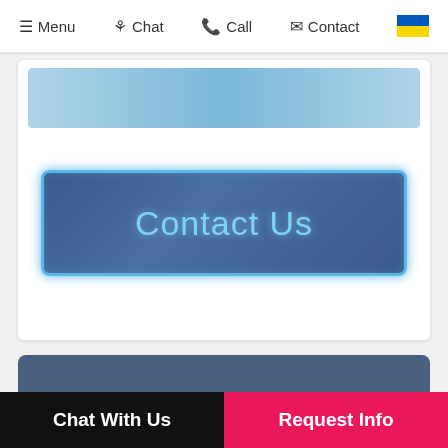Menu  Chat  Call  Contact
[Figure (screenshot): Contact Us button with blue glowing border on dark blue background, inside a white card]
Destination
[Figure (screenshot): Partial white card with a thumbnail image box visible]
Chat With Us   Request Info